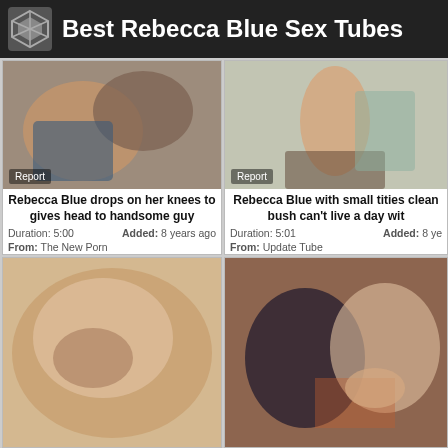Best Rebecca Blue Sex Tubes
[Figure (photo): Video thumbnail showing two people]
Report
Rebecca Blue drops on her knees to gives head to handsome guy
Duration: 5:00   Added: 8 years ago
From: The New Porn
[Figure (photo): Video thumbnail showing a blonde woman standing]
Report
Rebecca Blue with small tities clean bush can't live a day wit
Duration: 5:01   Added: 8 ye
From: Update Tube
[Figure (photo): Close-up video thumbnail of a blonde woman's face]
[Figure (photo): Video thumbnail showing two women on a couch]